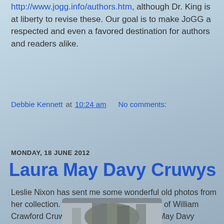http://www.jogg.info/authors.htm, although Dr. King is at liberty to revise these. Our goal is to make JoGG a respected and even a favored destination for authors and readers alike.
Debbie Kennett at 10:24 am   No comments:
Share
MONDAY, 18 JUNE 2012
Laura May Davy Cruwys
Leslie Nixon has sent me some wonderful old photos from her collection. Leslie is the grand-daughter of William Crawford Cruwys (1873-1938) and Laura May Davy (1878-1964). William and Laura were both born in Prince Edward Island, Canada, but moved to American in 1892 and settled in Cambridge, Massachusetts. The first picture below is of Laura May Davy Cruwys and was taken in April 1947.
[Figure (photo): Bottom portion of an old black and white photograph]